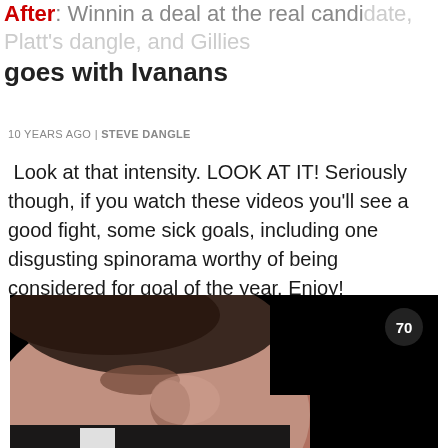After: Winnin a deal at the real candidate, Platt's dangle, and Gillies goes with Ivanans
10 YEARS AGO | STEVE DANGLE
Look at that intensity. LOOK AT IT! Seriously though, if you watch these videos you'll see a good fight, some sick goals, including one disgusting spinorama worthy of being considered for goal of the year. Enjoy!
[Figure (photo): Close-up photo of a man with dark hair looking downward, wearing a suit with white shirt collar, against a black background. A badge showing '70' appears in the upper right corner.]